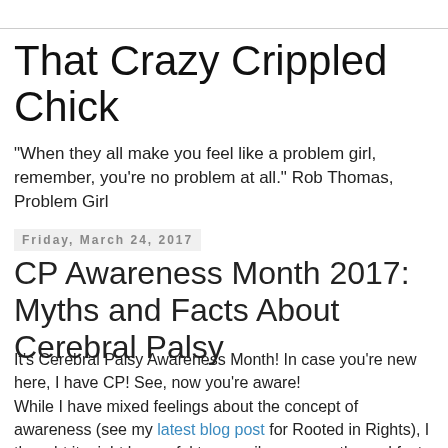That Crazy Crippled Chick
"When they all make you feel like a problem girl, remember, you're no problem at all." Rob Thomas, Problem Girl
Friday, March 24, 2017
CP Awareness Month 2017: Myths and Facts About Cerebral Palsy
It's Cerebral Palsy Awareness Month! In case you're new here, I have CP!  See, now you're aware!
While I have mixed feelings about the concept of awareness (see my latest blog post for Rooted in Rights), I thought it might be useful to compile some myths and facts about CP. Let me know in the comments if there's any I missed!